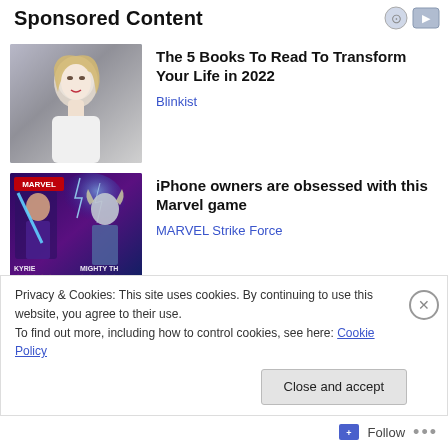Sponsored Content
[Figure (photo): Photo of a blonde woman in white top, looking to the side]
The 5 Books To Read To Transform Your Life in 2022
Blinkist
[Figure (photo): Marvel Strike Force game promotional image with Valkyrie and Mighty Thor characters with star ratings]
iPhone owners are obsessed with this Marvel game
MARVEL Strike Force
Privacy & Cookies: This site uses cookies. By continuing to use this website, you agree to their use.
To find out more, including how to control cookies, see here: Cookie Policy
Close and accept